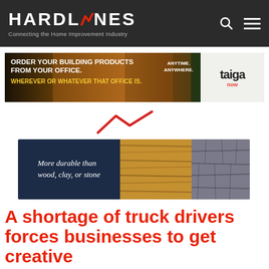HARDLINES – Connecting the Home Improvement Industry
[Figure (illustration): Taiga building products advertisement banner: 'ORDER YOUR BUILDING PRODUCTS FROM YOUR OFFICE. WHEREVER OR WHATEVER THAT OFFICE IS. ANYTIME. ANYWHERE.' with Taiga logo on right.]
[Figure (logo): Hardlines red lightning bolt zigzag decorative mark]
[Figure (illustration): Advertisement banner showing dark navy panel with text 'More durable than wood, clay, or stone', wood plank texture panel, and stone tile texture panel.]
A shortage of truck drivers forces businesses to get creative